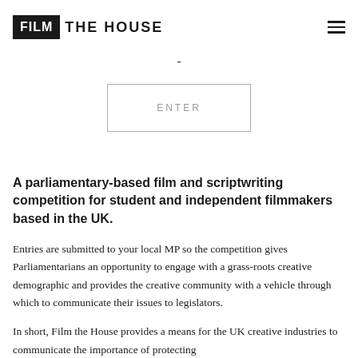FILM THE HOUSE
-
ENTER
A parliamentary-based film and scriptwriting competition for student and independent filmmakers based in the UK.
Entries are submitted to your local MP so the competition gives Parliamentarians an opportunity to engage with a grass-roots creative demographic and provides the creative community with a vehicle through which to communicate their issues to legislators.
In short, Film the House provides a means for the UK creative industries to communicate the importance of protecting…